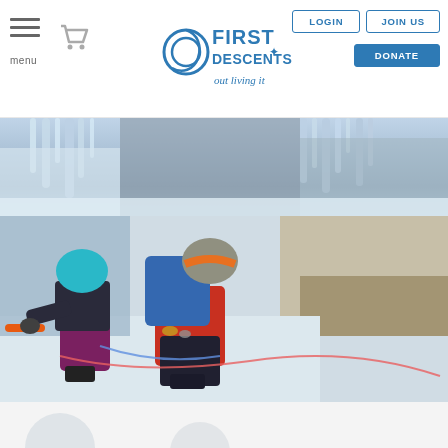First Descents website header with menu, cart, logo, LOGIN, JOIN US, and DONATE buttons
[Figure (photo): Ice formations and frozen waterfall background image at top of page]
[Figure (photo): Two climbers in helmets (teal and gray/orange) ice climbing together on a snowy slope with ice wall and rocky mountainside in background]
[Figure (photo): Partial bottom image with white/gray background, beginning of another section]